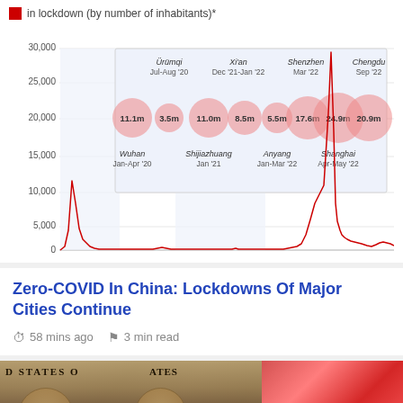[Figure (line-chart): in lockdown (by number of inhabitants)*]
Zero-COVID In China: Lockdowns Of Major Cities Continue
58 mins ago   3 min read
[Figure (photo): US dollar bills on left side and red blurred background on right side]